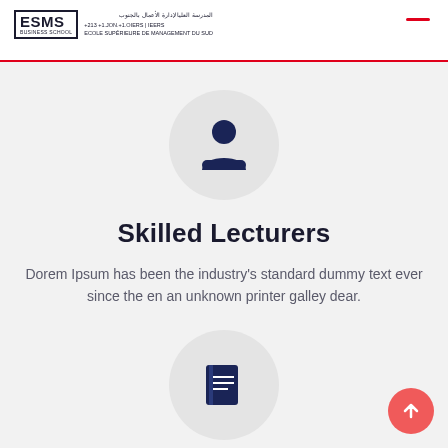[Figure (logo): ESMS Business School logo with Arabic text and French subtitle 'ECOLE SUPERIEURE DE MANAGEMENT DU SUD']
[Figure (illustration): Person/user icon in a light gray circle]
Skilled Lecturers
Dorem Ipsum has been the industry's standard dummy text ever since the en an unknown printer galley dear.
[Figure (illustration): Book/notebook icon in a light gray circle (partially visible at bottom)]